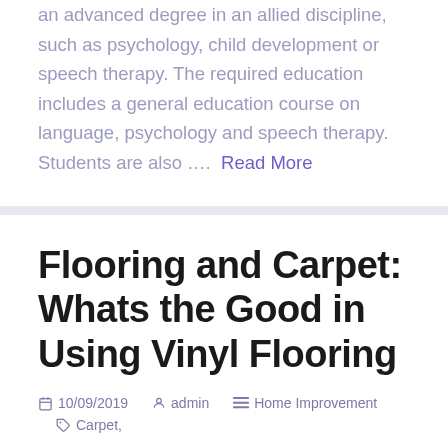an advanced degree in an allied discipline, such as psychology, child development or speech therapy. The required education includes a general education course on language, psychology and speech therapy. Students are also …. Read More
Flooring and Carpet: Whats the Good in Using Vinyl Flooring
10/09/2019  admin  Home Improvement  Carpet, Carpet Installation, Commercial Flooring Installation, Flooring Installation, Laminate Flooring, Luxury Vinyl Flooring
Better flooring might be worth the additional price. Laminate flooring is somewhat more costly than vinyl